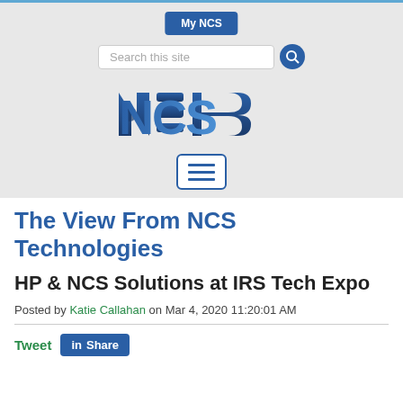[Figure (screenshot): NCS Technologies website header with navigation elements: My NCS button, search bar, NCS logo, and hamburger menu button on a light gray background]
The View From NCS Technologies
HP & NCS Solutions at IRS Tech Expo
Posted by Katie Callahan on Mar 4, 2020 11:20:01 AM
Tweet  Share